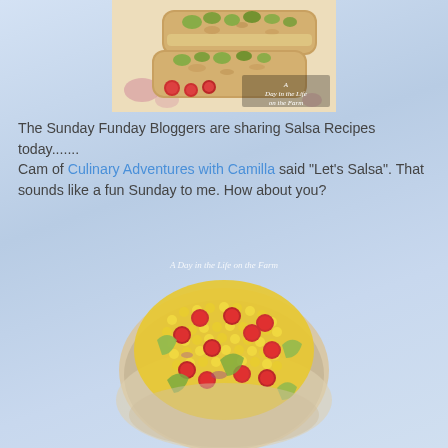[Figure (photo): Photo of a flatbread or bruschetta topped with green salsa/tomatillos and cherry tomatoes on a floral plate, with watermark 'A Day in the Life on the Farm']
The Sunday Funday Bloggers are sharing Salsa Recipes today.......
Cam of Culinary Adventures with Camilla said "Let's Salsa". That sounds like a fun Sunday to me. How about you?
[Figure (photo): Photo of a corn salsa with yellow corn kernels, cherry tomatoes, and avocado chunks in a bowl, with watermark 'A Day in the Life on the Farm']